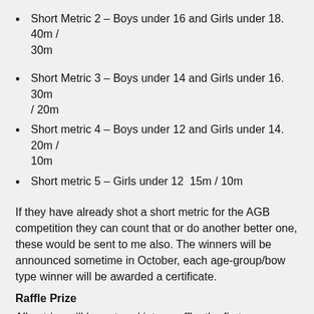Short Metric 2 – Boys under 16 and Girls under 18. 40m / 30m
Short Metric 3 – Boys under 14 and Girls under 16.  30m / 20m
Short metric 4 – Boys under 12 and Girls under 14. 20m / 10m
Short metric 5 – Girls under 12  15m / 10m
If they have already shot a short metric for the AGB competition they can count that or do another better one, these would be sent to me also. The winners will be announced sometime in October, each age-group/bow type winner will be awarded a certificate.
Raffle Prize
All entries will be entered into a raffle, the first name drawn will win a prize of £20 donated by The County Junior Rep (Charlotte Attwood) to be spent at their favourite archery shop before Christmas.
Rules of the AGB County Metric – how they...